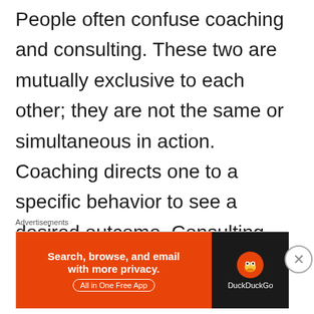People often confuse coaching and consulting. These two are mutually exclusive to each other; they are not the same or simultaneous in action. Coaching directs one to a specific behavior to see a desired outcome. Consulting points out inefficiencies or inconsistencies and provides clear direction as to the task ahead. Consulting demands experience in the field in which they are declaring
Advertisements
[Figure (other): DuckDuckGo advertisement banner: orange left panel reading 'Search, browse, and email with more privacy. All in One Free App' and dark right panel with DuckDuckGo logo and duck icon.]